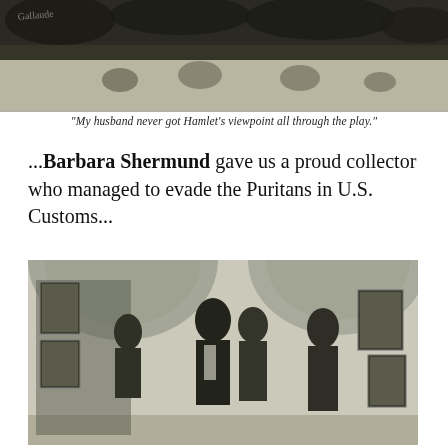[Figure (illustration): Black and white cartoon illustration showing a theater audience scene, with a signature 'Gallaude' in the upper left. Dark, sketchy ink style. People seated watching a performance.]
“My husband never got Hamlet’s viewpoint all through the play.”
...​Barbara Shermund gave us a proud collector who managed to evade the Puritans in U.S. Customs...
[Figure (illustration): Black and white illustration by Barbara Shermund showing figures in an arched gallery or cellar, viewing paintings on the wall. A man in formal wear is surrounded by women, looking at artwork that appears to depict nudes. Dark, tonal ink drawing style.]